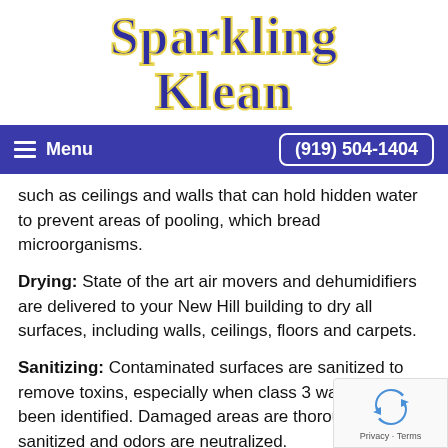Sparkling Klean
Menu   (919) 504-1404
such as ceilings and walls that can hold hidden water to prevent areas of pooling, which bread microorganisms.
Drying: State of the art air movers and dehumidifiers are delivered to your New Hill building to dry all surfaces, including walls, ceilings, floors and carpets.
Sanitizing: Contaminated surfaces are sanitized to remove toxins, especially when class 3 water has been identified. Damaged areas are thoroughly sanitized and odors are neutralized.
[Figure (logo): reCAPTCHA privacy badge with recycle-style arrows logo and Privacy · Terms text]